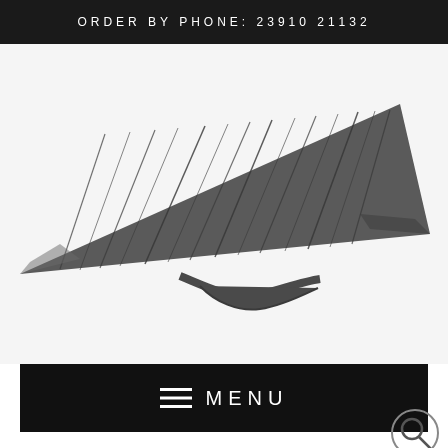ORDER BY PHONE: 23910 21132
[Figure (photo): Close-up photograph of a dark gunmetal/black triangular shaped metal jewelry piece (ring or brooch) with engraved diagonal line texture pattern, sitting on a white background]
MENU
[Figure (other): Search icon (magnifying glass) in bottom right corner]